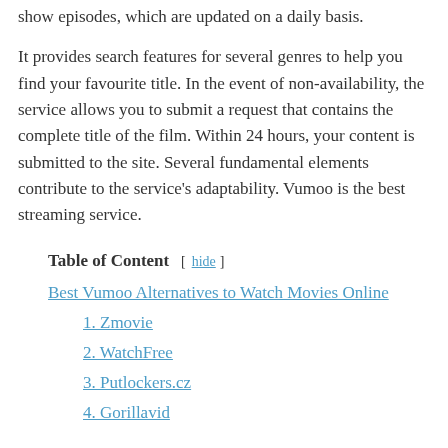show episodes, which are updated on a daily basis.
It provides search features for several genres to help you find your favourite title. In the event of non-availability, the service allows you to submit a request that contains the complete title of the film. Within 24 hours, your content is submitted to the site. Several fundamental elements contribute to the service's adaptability. Vumoo is the best streaming service.
Table of Content
Best Vumoo Alternatives to Watch Movies Online
1. Zmovie
2. WatchFree
3. Putlockers.cz
4. Gorillavid